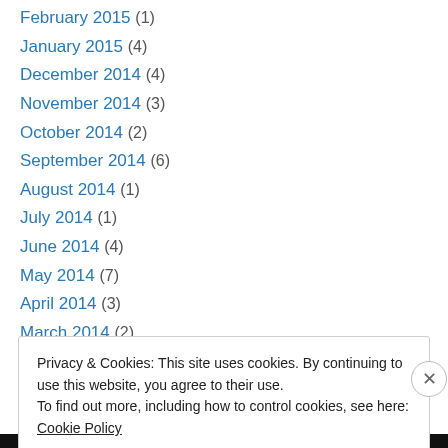February 2015 (1)
January 2015 (4)
December 2014 (4)
November 2014 (3)
October 2014 (2)
September 2014 (6)
August 2014 (1)
July 2014 (1)
June 2014 (4)
May 2014 (7)
April 2014 (3)
March 2014 (2)
February 2014 (3)
Privacy & Cookies: This site uses cookies. By continuing to use this website, you agree to their use. To find out more, including how to control cookies, see here: Cookie Policy
Close and accept